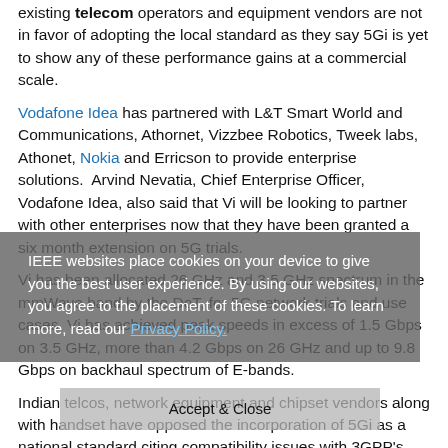existing telecom operators and equipment vendors are not in favor of adopting the local standard as they say 5Gi is yet to show any of these performance gains at a commercial scale.
Vodafone Idea has partnered with L&T Smart World and Communications, Athornet, Vizzbee Robotics, Tweek labs, Athonet, Nokia and Erricson to provide enterprise solutions.  Arvind Nevatia, Chief Enterprise Officer, Vodafone Idea, also said that Vi will be looking to partner with other enterprises now that they have been granted a six month extension on 5G trials.
Vi has been allocated 26 GHz and 3.5 GHz spectrum in the mmWave band by the DoT, for 5G network trials and use cases. Vi has achieved peak speeds in excess of 1.5 Gbps on 3.5 GHz, more than 4.2 Gbps on 26 GHz and up to 9.8 Gbps on backhaul spectrum of E-bands.
Indian telcos, network equipment and chipset vendors along with handset have opposed the incorporation of 5Gi as a national standard citing compatibility issues with 3GPP's global 5G standard, which has already been adopted globally for commercial live networks. Telcos had urged the Department of Telecom (DoT) and the TEC to merge 5Gi with 3GPP's global 5G NR spec to achieve scale and bring down costs, but that has not happened yet
IEEE websites place cookies on your device to give you the best user experience. By using our websites, you agree to the placement of these cookies. To learn more, read our Privacy Policy.
Accept & Close